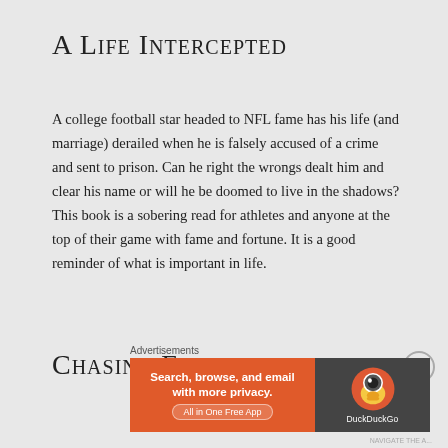A Life Intercepted
A college football star headed to NFL fame has his life (and marriage) derailed when he is falsely accused of a crime and sent to prison. Can he right the wrongs dealt him and clear his name or will he be doomed to live in the shadows? This book is a sobering read for athletes and anyone at the top of their game with fame and fortune. It is a good reminder of what is important in life.
Chasing Fireflies
[Figure (screenshot): DuckDuckGo advertisement banner: orange left panel with text 'Search, browse, and email with more privacy. All in One Free App', dark right panel with DuckDuckGo duck logo and 'DuckDuckGo' text]
Advertisements